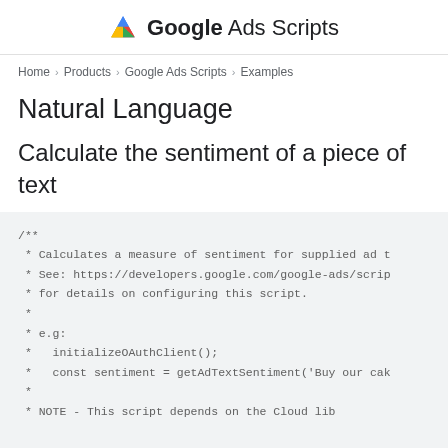Google Ads Scripts
Home > Products > Google Ads Scripts > Examples
Natural Language
Calculate the sentiment of a piece of text
/**
 * Calculates a measure of sentiment for supplied ad t
 * See: https://developers.google.com/google-ads/scrip
 * for details on configuring this script.
 *
 * e.g:
 *   initializeOAuthClient();
 *   const sentiment = getAdTextSentiment('Buy our cak
 *
 * NOTE - This script depends on the Cloud lib